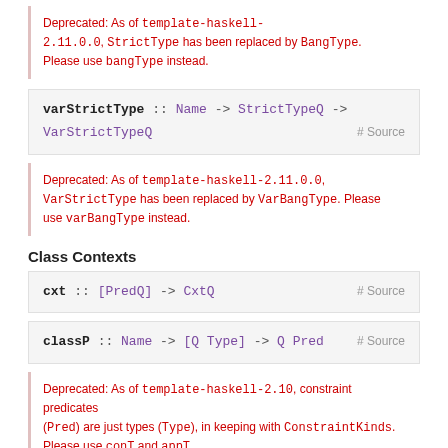Deprecated: As of template-haskell-2.11.0.0, StrictType has been replaced by BangType. Please use bangType instead.
varStrictType :: Name -> StrictTypeQ -> VarStrictTypeQ  # Source
Deprecated: As of template-haskell-2.11.0.0, VarStrictType has been replaced by VarBangType. Please use varBangType instead.
Class Contexts
cxt :: [PredQ] -> CxtQ  # Source
classP :: Name -> [Q Type] -> Q Pred  # Source
Deprecated: As of template-haskell-2.10, constraint predicates (Pred) are just types (Type), in keeping with ConstraintKinds. Please use conT and appT.